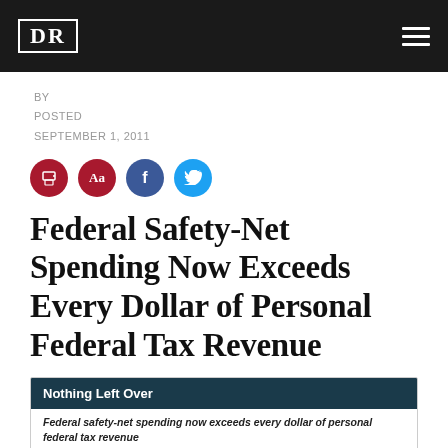DR
BY
POSTED
SEPTEMBER 1, 2011
[Figure (infographic): Social sharing icons: print (dark red), text size (dark red), Facebook (blue), Twitter (cyan)]
Federal Safety-Net Spending Now Exceeds Every Dollar of Personal Federal Tax Revenue
[Figure (infographic): Chart preview box with dark teal header 'Nothing Left Over' and italic subtitle 'Federal safety-net spending now exceeds every dollar of personal federal tax revenue']